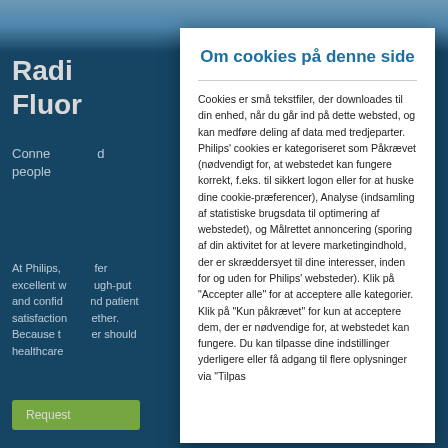[Figure (screenshot): Philips website background with blue header showing radiology/fluoroscopy product page partially obscured by cookie consent modal]
Om cookies på denne side
Cookies er små tekstfiler, der downloades til din enhed, når du går ind på dette websted, og kan medføre deling af data med tredjeparter. Philips' cookies er kategoriseret som Påkrævet (nødvendigt for, at webstedet kan fungere korrekt, f.eks. til sikkert logon eller for at huske dine cookie-præferencer), Analyse (indsamling af statistiske brugsdata til optimering af webstedet), og Målrettet annoncering (sporing af din aktivitet for at levere marketingindhold, der er skræddersyet til dine interesser, inden for og uden for Philips' websteder). Klik på "Accepter alle" for at acceptere alle kategorier. Klik på "Kun påkrævet" for kun at acceptere dem, der er nødvendige for, at webstedet kan fungere. Du kan tilpasse dine indstillinger yderligere eller få adgang til flere oplysninger via "Tilpas